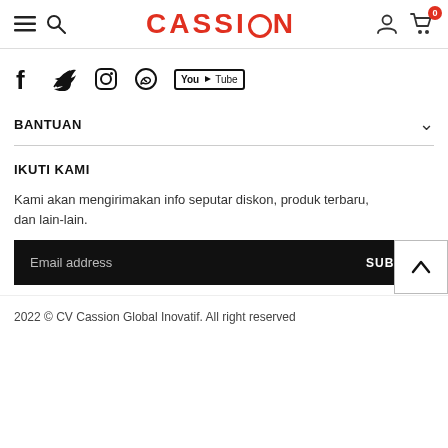CASSION — navigation header with hamburger, search, logo, user, cart (0)
[Figure (other): Social media icons row: Facebook, Twitter, Instagram, WhatsApp, YouTube]
BANTUAN
IKUTI KAMI
Kami akan mengirimakan info seputar diskon, produk terbaru, dan lain-lain.
Email address   SUBMIT
2022 © CV Cassion Global Inovatif. All right reserved